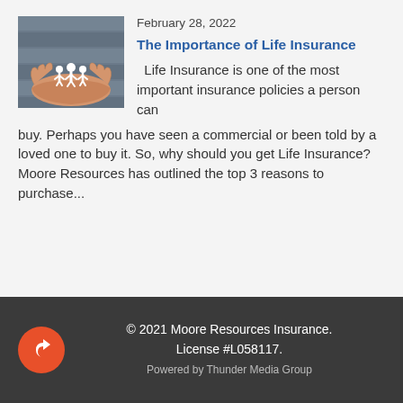February 28, 2022
[Figure (photo): Hands holding small paper family cutouts, symbolizing life insurance and family protection.]
The Importance of Life Insurance
Life Insurance is one of the most important insurance policies a person can buy. Perhaps you have seen a commercial or been told by a loved one to buy it. So, why should you get Life Insurance? Moore Resources has outlined the top 3 reasons to purchase...
© 2021 Moore Resources Insurance. License #L058117.